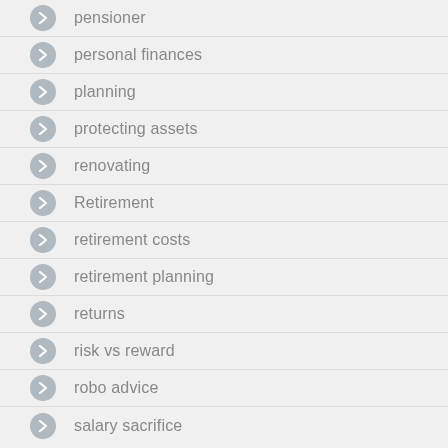pensioner
personal finances
planning
protecting assets
renovating
Retirement
retirement costs
retirement planning
returns
risk vs reward
robo advice
salary sacrifice